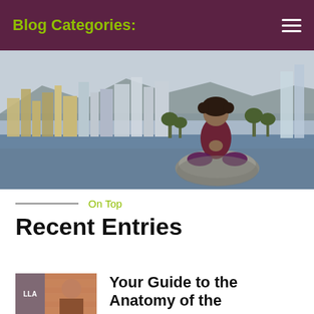Blog Categories:
[Figure (photo): Woman sitting in a meditation pose on a rock by the waterfront, with a city skyline and mountains in the background.]
On Top
Recent Entries
[Figure (photo): Thumbnail image showing a person with a brick wall background and a logo overlay (LLA).]
Your Guide to the Anatomy of the